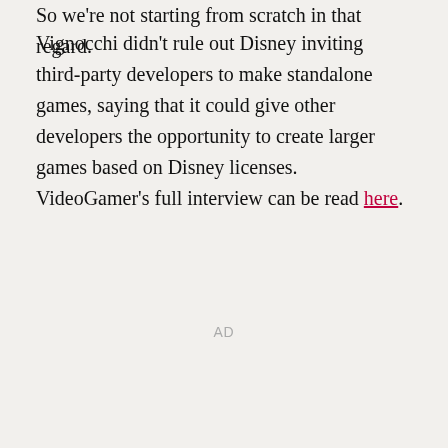So we're not starting from scratch in that regard.
Vignocchi didn't rule out Disney inviting third-party developers to make standalone games, saying that it could give other developers the opportunity to create larger games based on Disney licenses. VideoGamer's full interview can be read here.
AD